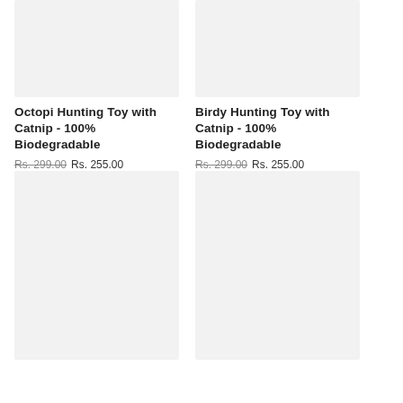[Figure (photo): Product image placeholder for Octopi Hunting Toy - light gray rectangle]
[Figure (photo): Product image placeholder for Birdy Hunting Toy - light gray rectangle]
Octopi Hunting Toy with Catnip - 100% Biodegradable
Rs. 299.00 Rs. 255.00
Birdy Hunting Toy with Catnip - 100% Biodegradable
Rs. 299.00 Rs. 255.00
[Figure (photo): Product image placeholder - large light gray rectangle bottom left]
[Figure (photo): Product image placeholder - large light gray rectangle bottom right]